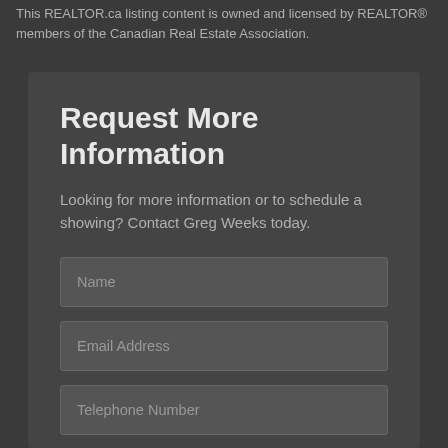This REALTOR.ca listing content is owned and licensed by REALTOR® members of the Canadian Real Estate Association.
Request More Information
Looking for more information or to schedule a showing? Contact Greg Weeks today.
Name
Email Address
Telephone Number
Are you under contract with a real estate agent or REALTOR®?
Yes